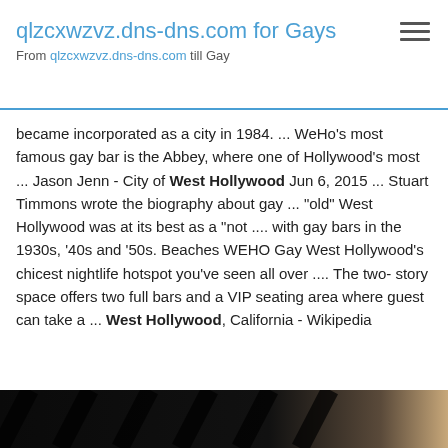qlzcxwzvz.dns-dns.com for Gays
From qlzcxwzvz.dns-dns.com till Gay
became incorporated as a city in 1984. ... WeHo's most famous gay bar is the Abbey, where one of Hollywood's most ... Jason Jenn - City of West Hollywood Jun 6, 2015 ... Stuart Timmons wrote the biography about gay ... "old" West Hollywood was at its best as a "not .... with gay bars in the 1930s, '40s and '50s. Beaches WEHO Gay West Hollywood's chicest nightlife hotspot you've seen all over .... The two- story space offers two full bars and a VIP seating area where guest can take a ... West Hollywood, California - Wikipedia
[Figure (photo): Dark interior photograph, mostly black with some tan/beige coloring visible on the right side, appearing to show structural elements or furniture.]